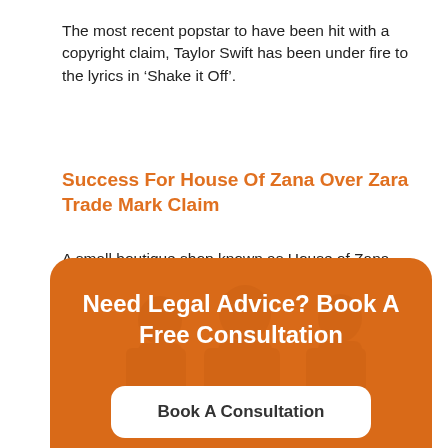The most recent popstar to have been hit with a copyright claim, Taylor Swift has been under fire to the lyrics in ‘Shake it Off’.
Success For House Of Zana Over Zara Trade Mark Claim
A small boutique shop known as House of Zana has been successful in their attempt to defend themselves from an opposition by fashion brand Zara.
[Figure (illustration): Orange rounded box with silhouetted figures in the background serving as a call-to-action banner with text 'Need Legal Advice? Book A Free Consultation' and a button 'Book A Consultation']